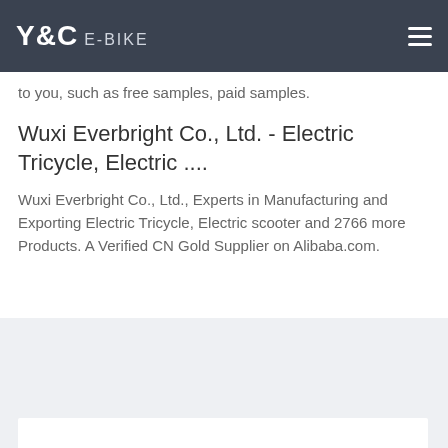Y&C E-BIKE
to you, such as free samples, paid samples.
Wuxi Everbright Co., Ltd. - Electric Tricycle, Electric ....
Wuxi Everbright Co., Ltd., Experts in Manufacturing and Exporting Electric Tricycle, Electric scooter and 2766 more Products. A Verified CN Gold Supplier on Alibaba.com.